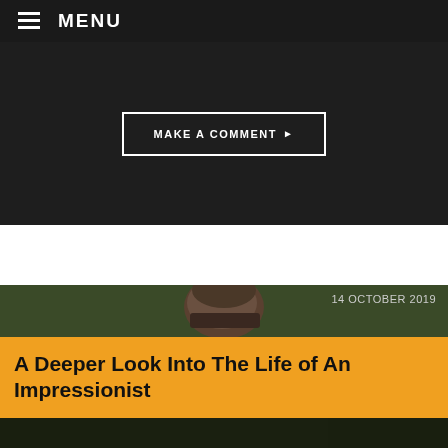≡ MENU
[Figure (other): Dark background section with a MAKE A COMMENT button with right arrow]
MAKE A COMMENT ▶
[Figure (photo): Photo of a bald middle-aged man in a blue shirt, partially visible, with date overlay and yellow title box reading 'A Deeper Look Into The Life of An Impressionist', dated 14 OCTOBER 2019]